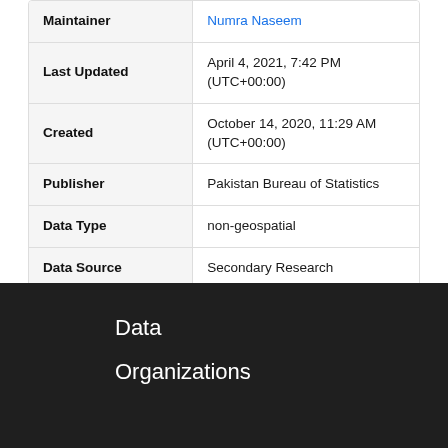|  |  |
| --- | --- |
| Maintainer | Numra Naseem |
| Last Updated | April 4, 2021, 7:42 PM (UTC+00:00) |
| Created | October 14, 2020, 11:29 AM (UTC+00:00) |
| Publisher | Pakistan Bureau of Statistics |
| Data Type | non-geospatial |
| Data Source | Secondary Research |
| Organization Type | Federal government |
| Category | Economy & Finance |
Data
Organizations